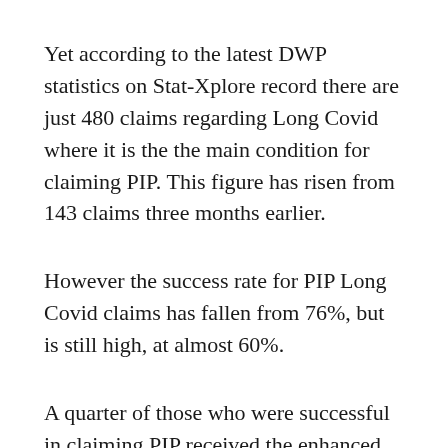Yet according to the latest DWP statistics on Stat-Xplore record there are just 480 claims regarding Long Covid where it is the the main condition for claiming PIP. This figure has risen from 143 claims three months earlier.
However the success rate for PIP Long Covid claims has fallen from 76%, but is still high, at almost 60%.
A quarter of those who were successful in claiming PIP received the enhanced rate of